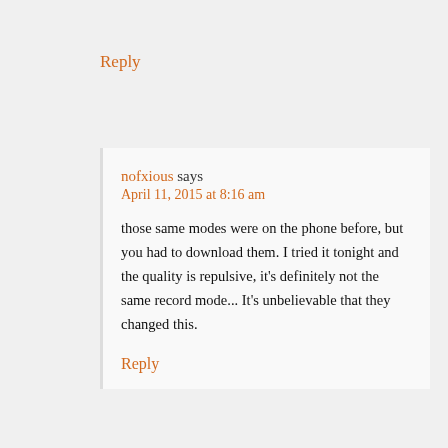Reply
nofxious says
April 11, 2015 at 8:16 am
those same modes were on the phone before, but you had to download them. I tried it tonight and the quality is repulsive, it's definitely not the same record mode... It's unbelievable that they changed this.
Reply